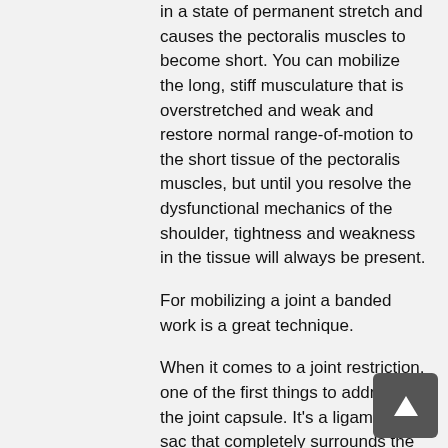in a state of permanent stretch and causes the pectoralis muscles to become short. You can mobilize the long, stiff musculature that is overstretched and weak and restore normal range-of-motion to the short tissue of the pectoralis muscles, but until you resolve the dysfunctional mechanics of the shoulder, tightness and weakness in the tissue will always be present.
For mobilizing a joint a banded work is a great technique.
When it comes to a joint restriction, one of the first things to address is the joint capsule. It's a ligamentous sac that completely surrounds the joint. This bag of tissue creates an environment for freedom of movement.